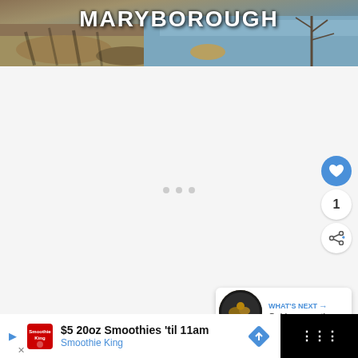[Figure (photo): Hero banner image showing rocky shoreline with water and bare tree, with MARYBOROUGH text overlay in white bold font]
MARYBOROUGH
[Figure (screenshot): White content area with loading dots centered, social media like button (blue circle with heart), count of 1, and share button on the right side]
[Figure (infographic): What's Next card showing prospecting thumbnail and text 'Gold prospecting...']
WHAT'S NEXT → Gold prospecting...
[Figure (screenshot): Advertisement banner: $5 20oz Smoothies 'til 11am - Smoothie King, with navigation arrow icon and weather widget on black background]